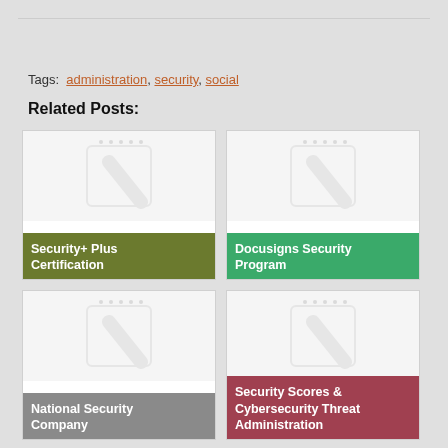Tags: administration, security, social
Related Posts:
[Figure (illustration): Card with notebook placeholder image and olive label reading 'Security+ Plus Certification']
[Figure (illustration): Card with notebook placeholder image and green label reading 'Docusigns Security Program']
[Figure (illustration): Card with notebook placeholder image and gray label reading 'National Security Company']
[Figure (illustration): Card with notebook placeholder image and rose label reading 'Security Scores & Cybersecurity Threat Administration']